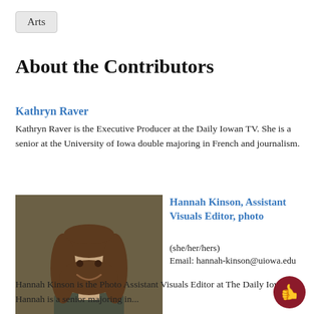Arts
About the Contributors
Kathryn Raver
Kathryn Raver is the Executive Producer at the Daily Iowan TV. She is a senior at the University of Iowa double majoring in French and journalism.
[Figure (photo): Headshot photo of Hannah Kinson, a young woman with long curly hair, smiling, against a dark background]
Hannah Kinson, Assistant Visuals Editor, photo
(she/her/hers)
Email: hannah-kinson@uiowa.edu
Hannah Kinson is the Photo Assistant Visuals Editor at The Daily Iowan. Hannah is a senior majoring in...